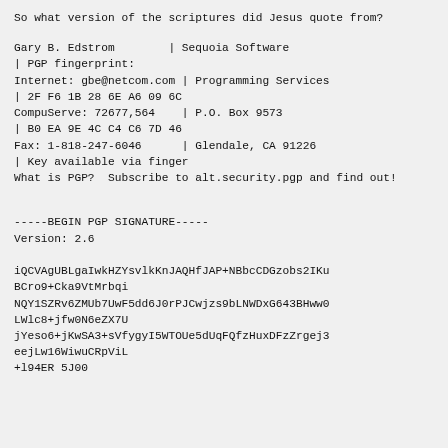So what version of the scriptures did Jesus quote from?
Gary B. Edstrom        | Sequoia Software
| PGP fingerprint:
Internet: gbe@netcom.com | Programming Services
| 2F F6 1B 28 6E A6 09 6C
CompuServe: 72677,564   | P.O. Box 9573
| B0 EA 9E 4C C4 C6 7D 46
Fax: 1-818-247-6046      | Glendale, CA 91226
| Key available via finger
What is PGP?  Subscribe to alt.security.pgp and find out!
-----BEGIN PGP SIGNATURE-----
Version: 2.6

iQCVAgUBLgaIwkHZYsvlkKnJAQHfJAP+NBbcCDGzobs2IKuBCro9+Cka9VtMrbqi
NQY1SZRv6ZMUb7UwF5dd6J0rPJCwjzs9bLNWDxG643BHww0LWlc8+jfw0N6eZX7U
jYeso6+jKwSA3+sVfygyI5WTOUe5dUqFQfzHuxDFzZrgej3eejLw16WiwuCRpViL
+l94ER 5J00...